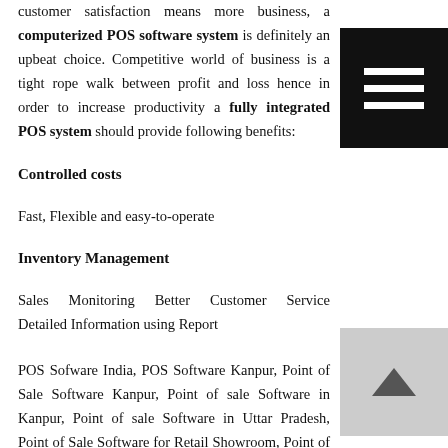customer satisfaction means more business, a computerized POS software system is definitely an upbeat choice. Competitive world of business is a tight rope walk between profit and loss hence in order to increase productivity a fully integrated POS system should provide following benefits:
[Figure (other): Black rectangle with three horizontal white lines (hamburger menu icon)]
Controlled costs
Fast, Flexible and easy-to-operate
Inventory Management
Sales Monitoring Better Customer Service Detailed Information using Report
POS Sofware India, POS Software Kanpur, Point of Sale Software Kanpur, Point of sale Software in Kanpur, Point of sale Software in Uttar Pradesh, Point of Sale Software for Retail Showroom, Point of Sale Software for Shopkeepers, Point of Sale Software Delhi, Customized Point of Sale Software in India, Customized Point of Sale
[Figure (other): Light grey rectangle with a dark upward-pointing chevron arrow (scroll to top button)]